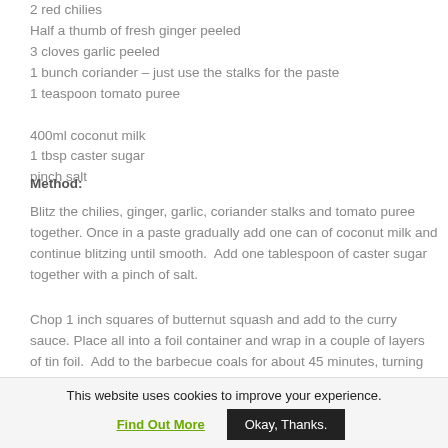2 red chilies
Half a thumb of fresh ginger peeled
3 cloves garlic peeled
1 bunch coriander – just use the stalks for the paste
1 teaspoon tomato puree
400ml coconut milk
1 tbsp caster sugar
pinch salt
Method:
Blitz the chilies, ginger, garlic, coriander stalks and tomato puree together. Once in a paste gradually add one can of coconut milk and continue blitzing until smooth.  Add one tablespoon of caster sugar together with a pinch of salt.
Chop 1 inch squares of butternut squash and add to the curry sauce. Place all into a foil container and wrap in a couple of layers of tin foil.  Add to the barbecue coals for about 45 minutes, turning the packages every 10 minutes with tongs.
Roasted Vegetable Hobo Packs
This website uses cookies to improve your experience.
Find Out More
Okay, Thanks.